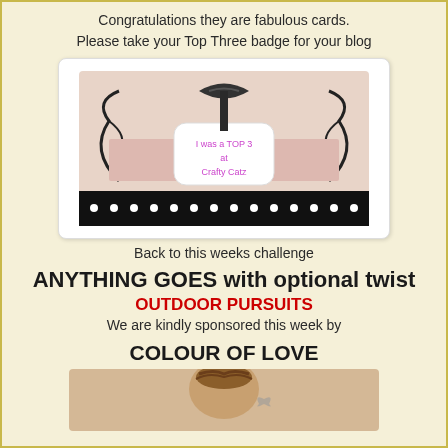Congratulations they are fabulous cards.
Please take your Top Three badge for your blog
[Figure (illustration): A decorative badge image with black ribbon, pink and black scroll designs, polka dot border, and text reading 'I was a TOP 3 at Crafty Catz' in pink]
Back to this weeks challenge
ANYTHING GOES with optional twist
OUTDOOR PURSUITS
We are kindly sponsored this week by
COLOUR OF LOVE
[Figure (illustration): Bottom portion of a decorative image showing what appears to be a vintage lady figure with braided/curled hair on a warm beige background]